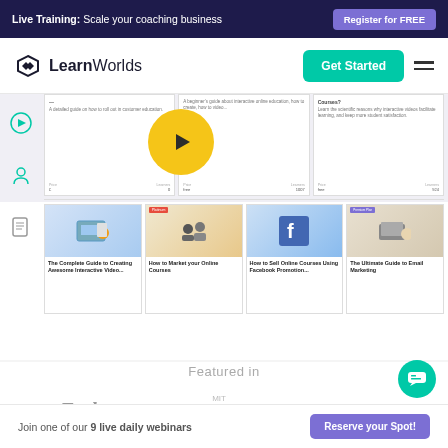Live Training: Scale your coaching business | Register for FREE
[Figure (logo): LearnWorlds logo with diamond icon]
[Figure (screenshot): LearnWorlds platform screenshot showing course cards and a video play button overlay]
Featured in
[Figure (logo): Forbes, MIT Technology Review, and Neil Patel publication logos]
Join one of our 9 live daily webinars | Reserve your Spot!